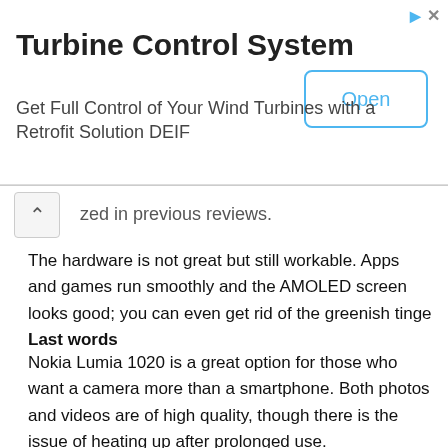[Figure (other): Advertisement banner for Turbine Control System by DEIF with an Open button]
zed in previous reviews.
The hardware is not great but still workable. Apps and games run smoothly and the AMOLED screen looks good; you can even get rid of the greenish tinge that such displays show by tweaking the settings. Sunlight legibility and viewing angles are great, as was the case with earlier top-end Lumia phones. Software-wise, you get the same fare that other Lumia smartphones have.
Last words
Nokia Lumia 1020 is a great option for those who want a camera more than a smartphone. Both photos and videos are of high quality, though there is the issue of heating up after prolonged use.